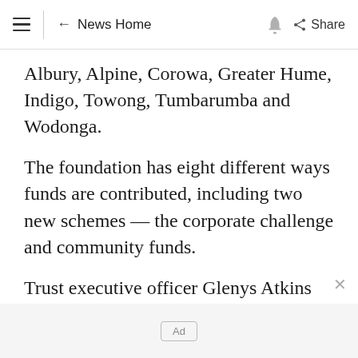≡  ← News Home  🔔  Share
Albury, Alpine, Corowa, Greater Hume, Indigo, Towong, Tumbarumba and Wodonga.
The foundation has eight different ways funds are contributed, including two new schemes — the corporate challenge and community funds.
Trust executive officer Glenys Atkins said residents and businesses across the region could now give to a fund specific to their community.
Ad